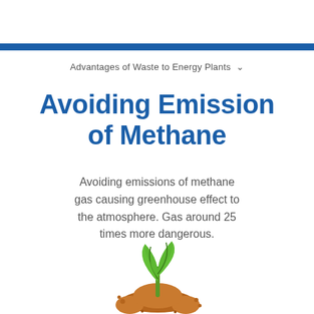Advantages of Waste to Energy Plants
Avoiding Emission of Methane
Avoiding emissions of methane gas causing greenhouse effect to the atmosphere. Gas around 25 times more dangerous.
[Figure (illustration): A small green plant seedling sprouting from a mound of brown soil/earth, with two large green leaves at the top and small dirt particles around the base.]